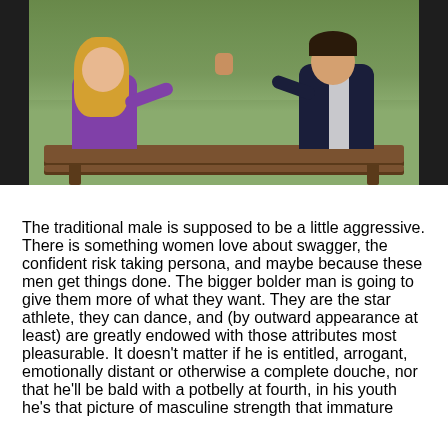[Figure (photo): A man and woman sitting on a wooden bench outdoors, holding hands raised between them. The woman is on the left wearing a purple long-sleeve shirt with long blonde hair. The man is on the right wearing a dark navy and white striped shirt.]
The traditional male is supposed to be a little aggressive. There is something women love about swagger, the confident risk taking persona, and maybe because these men get things done. The bigger bolder man is going to give them more of what they want. They are the star athlete, they can dance, and (by outward appearance at least) are greatly endowed with those attributes most pleasurable. It doesn't matter if he is entitled, arrogant, emotionally distant or otherwise a complete douche, nor that he'll be bald with a potbelly at fourth, in his youth he's that picture of masculine strength that immature